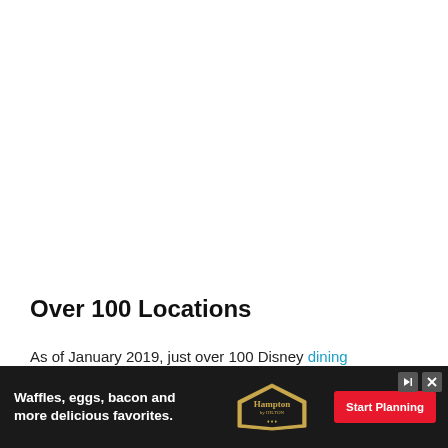Over 100 Locations
As of January 2019, just over 100 Disney dining destinations in Florida participate in the Tables in Wonderland program. Theme park admission tickets are re[quired for Magic Kingdom, Hollywood Studios, Epcot...]
[Figure (other): Advertisement banner for Hampton by Hilton hotel. Dark background with white bold text 'Waffles, eggs, bacon and more delicious favorites.' alongside the Hampton hotel logo and a red 'Start Planning' button. Contains skip/close controls.]